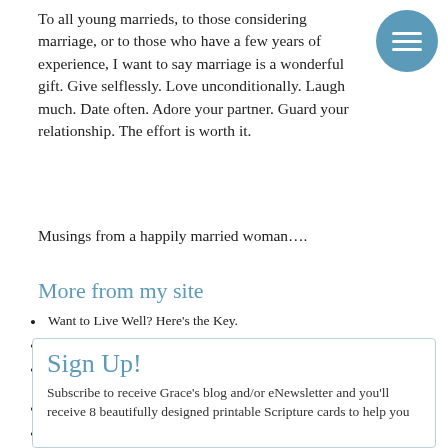To all young marrieds, to those considering marriage, or to those who have a few years of experience, I want to say marriage is a wonderful gift. Give selflessly. Love unconditionally. Laugh much. Date often. Adore your partner. Guard your relationship. The effort is worth it.
Musings from a happily married woman….
More from my site
Want to Live Well? Here's the Key.
Wedding Countdown: How God Answered Prayer for a Venue
Wedding Countdown: How God Answered Prayer for Bringing Two People Together
The Key to Life Without Regrets
Three Suggestions for Developing a God-Honoring Perspective
Friendship Friday — Understanding the Man in Your Life — Insights from Poppy Smith
Sign Up!
Subscribe to receive Grace's blog and/or eNewsletter and you'll receive 8 beautifully designed printable Scripture cards to help you